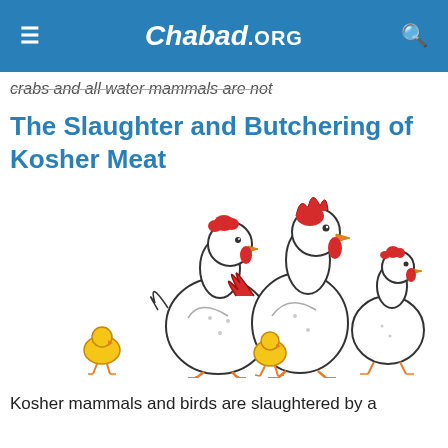Chabad.ORG
crabs and all water mammals are not
The Slaughter and Butchering of Kosher Meat
[Figure (illustration): Illustration of two chickens (a hen and a rooster with red combs) and two yellow chicks on a white background.]
Kosher mammals and birds are slaughtered by a